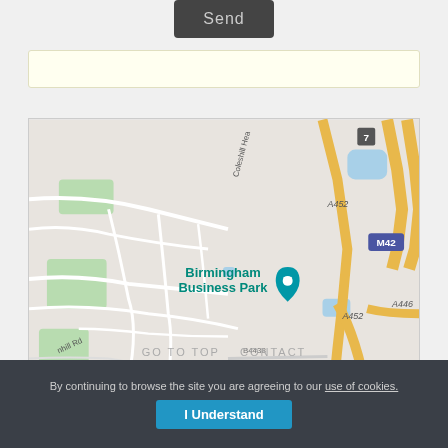[Figure (other): Send button (dark grey rounded rectangle with 'Send' text)]
[Figure (other): Empty pale yellow input/text bar]
[Figure (map): Google Maps screenshot showing Birmingham Business Park area, with roads A452, M42, A446, B4438, labels for Melbicks Garden Centre and Premier Inn Birmingham, and Coleshill Hea road label. Map pin on Birmingham Business Park.]
GO TO TOP   CONTACT
By continuing to browse the site you are agreeing to our use of cookies.
I Understand